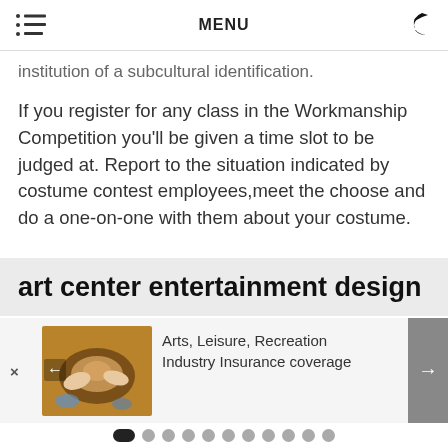MENU
institution of a subcultural identification.
If you register for any class in the Workmanship Competition you'll be given a time slot to be judged at. Report to the situation indicated by costume contest employees,meet the choose and do a one-on-one with them about your costume.
art center entertainment design
[Figure (photo): Photo of hands shaping clay on a pottery wheel, with blue and orange colors visible]
Arts, Leisure, Recreation Industry Insurance coverage